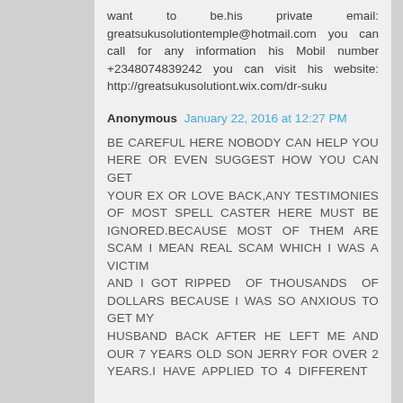want to be.his private email: greatsukusolutiontemple@hotmail.com you can call for any information his Mobil number +2348074839242 you can visit his website: http://greatsukusolutiont.wix.com/dr-suku
Anonymous January 22, 2016 at 12:27 PM
BE CAREFUL HERE NOBODY CAN HELP YOU HERE OR EVEN SUGGEST HOW YOU CAN GET YOUR EX OR LOVE BACK,ANY TESTIMONIES OF MOST SPELL CASTER HERE MUST BE IGNORED.BECAUSE MOST OF THEM ARE SCAM I MEAN REAL SCAM WHICH I WAS A VICTIM AND I GOT RIPPED OF THOUSANDS OF DOLLARS BECAUSE I WAS SO ANXIOUS TO GET MY HUSBAND BACK AFTER HE LEFT ME AND OUR 7 YEARS OLD SON JERRY FOR OVER 2 YEARS.I HAVE APPLIED TO 4 DIFFERENT